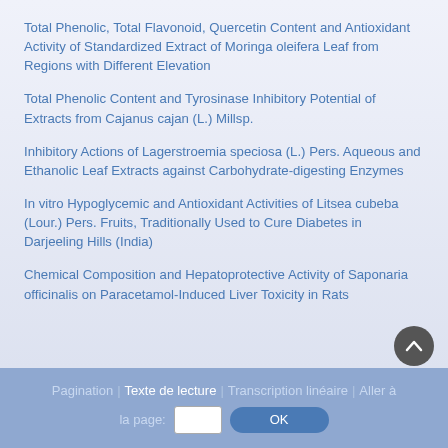Total Phenolic, Total Flavonoid, Quercetin Content and Antioxidant Activity of Standardized Extract of Moringa oleifera Leaf from Regions with Different Elevation
Total Phenolic Content and Tyrosinase Inhibitory Potential of Extracts from Cajanus cajan (L.) Millsp.
Inhibitory Actions of Lagerstroemia speciosa (L.) Pers. Aqueous and Ethanolic Leaf Extracts against Carbohydrate-digesting Enzymes
In vitro Hypoglycemic and Antioxidant Activities of Litsea cubeba (Lour.) Pers. Fruits, Traditionally Used to Cure Diabetes in Darjeeling Hills (India)
Chemical Composition and Hepatoprotective Activity of Saponaria officinalis on Paracetamol-Induced Liver Toxicity in Rats
Pagination | Texte de lecture | Transcription linéaire | Aller à la page: OK